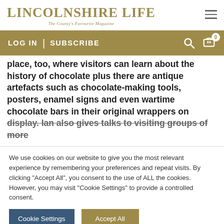LINCOLNSHIRE LIFE — The County's Favourite Magazine
LOG IN  |  SUBSCRIBE
place, too, where visitors can learn about the history of chocolate plus there are antique artefacts such as chocolate-making tools, posters, enamel signs and even wartime chocolate bars in their original wrappers on display. Ian also gives talks to visiting groups of more
We use cookies on our website to give you the most relevant experience by remembering your preferences and repeat visits. By clicking "Accept All", you consent to the use of ALL the cookies. However, you may visit "Cookie Settings" to provide a controlled consent.